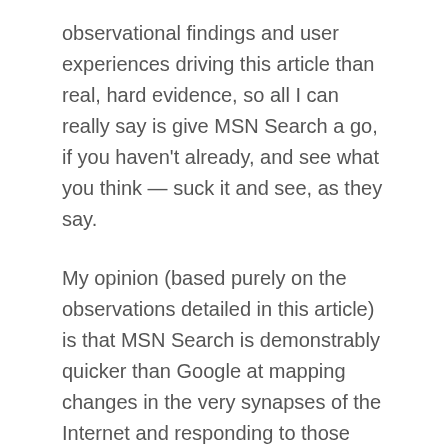observational findings and user experiences driving this article than real, hard evidence, so all I can really say is give MSN Search a go, if you haven't already, and see what you think — suck it and see, as they say.
My opinion (based purely on the observations detailed in this article) is that MSN Search is demonstrably quicker than Google at mapping changes in the very synapses of the Internet and responding to those changes, while still providing equally targeted search results. It has its weaknesses, of course. For example, Google can handle plurals — a search for "review" will also